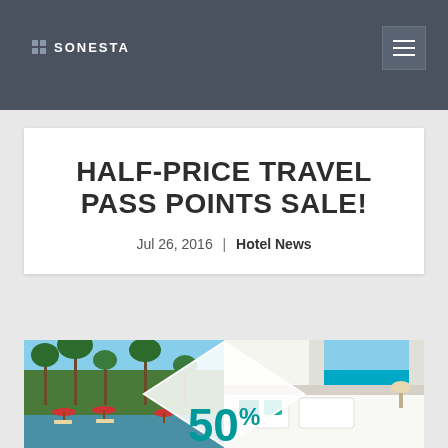SONESTA
HALF-PRICE TRAVEL PASS POINTS SALE!
Jul 26, 2016 | Hotel News
[Figure (photo): Composite hotel promotional image: left side shows outdoor pool area with palm trees and red umbrellas (resort exterior), right side shows bright hotel room with white bedding and teal accent pillows with ocean view window; overlaid with a white diamond/chevron shape and large teal '50%' text]